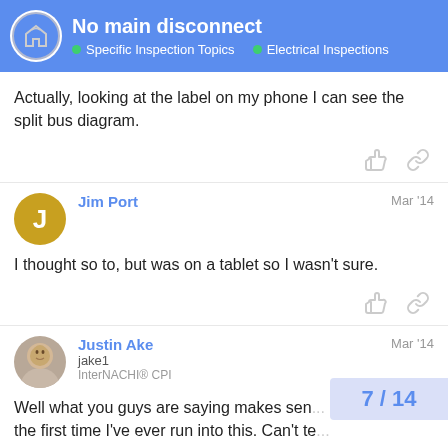No main disconnect | Specific Inspection Topics | Electrical Inspections
Actually, looking at the label on my phone I can see the split bus diagram.
Jim Port  Mar '14
I thought so to, but was on a tablet so I wasn't sure.
Justin Ake  Mar '14
jake1
InterNACHI® CPI
Well what you guys are saying makes sen... the first time I've ever run into this. Can't te...
7 / 14